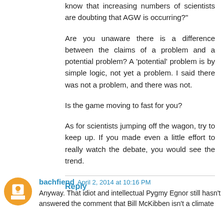know that increasing numbers of scientists are doubting that AGW is occurring?"
Are you unaware there is a difference between the claims of a problem and a potential problem? A 'potential' problem is by simple logic, not yet a problem. I said there was not a problem, and there was not.
Is the game moving to fast for you?
As for scientists jumping off the wagon, try to keep up. If you made even a little effort to really watch the debate, you would see the trend.
Reply
bachfiend April 2, 2014 at 10:16 PM
Anyway. That idiot and intellectual Pygmy Egnor still hasn't answered the comment that Bill McKibben isn't a climate